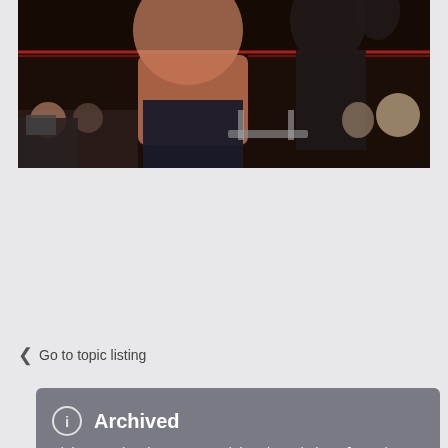[Figure (photo): A wrestling/boxing ring scene with fighters and audience members visible in the background. Dark, low-quality video still.]
Archived
This topic is now archived and is closed to further replies.
< Go to topic listing
Recently Browsing   0 members
No registered users viewing this page.